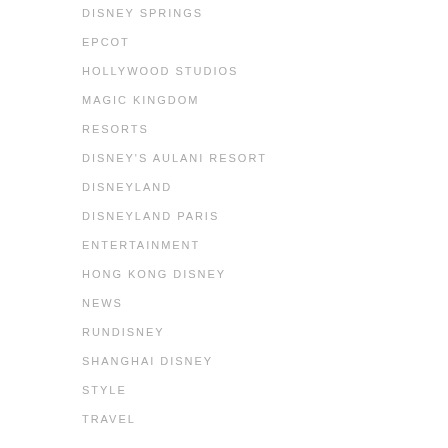DISNEY SPRINGS
EPCOT
HOLLYWOOD STUDIOS
MAGIC KINGDOM
RESORTS
DISNEY'S AULANI RESORT
DISNEYLAND
DISNEYLAND PARIS
ENTERTAINMENT
HONG KONG DISNEY
NEWS
RUNDISNEY
SHANGHAI DISNEY
STYLE
TRAVEL